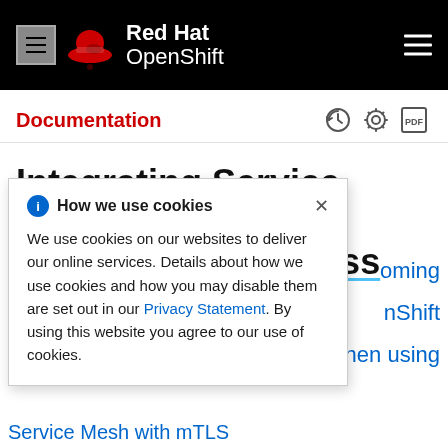Red Hat OpenShift
Documentation
Integrating Service Mesh with OpenShift Serverless
How we use cookies

We use cookies on our websites to deliver our online services. Details about how we use cookies and how you may disable them are set out in our Privacy Statement. By using this website you agree to our use of cookies.
Service Mesh with mTLS